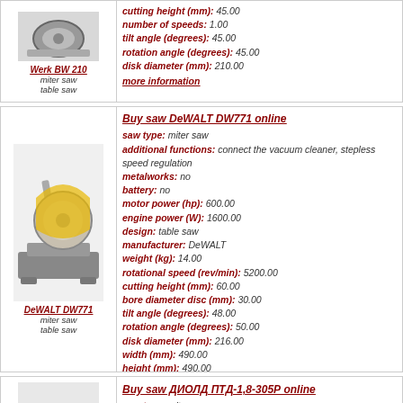[Figure (photo): Werk BW 210 miter saw / table saw product image (partial, top cropped)]
Werk BW 210
miter saw
table saw
cutting height (mm): 45.00
number of speeds: 1.00
tilt angle (degrees): 45.00
rotation angle (degrees): 45.00
disk diameter (mm): 210.00
more information
[Figure (photo): DeWALT DW771 miter saw product image]
DeWALT DW771
miter saw
table saw
Buy saw DeWALT DW771 online
saw type: miter saw
additional functions: connect the vacuum cleaner, stepless speed regulation
metalworks: no
battery: no
motor power (hp): 600.00
engine power (W): 1600.00
design: table saw
manufacturer: DeWALT
weight (kg): 14.00
rotational speed (rev/min): 5200.00
cutting height (mm): 60.00
bore diameter disc (mm): 30.00
tilt angle (degrees): 48.00
rotation angle (degrees): 50.00
disk diameter (mm): 216.00
width (mm): 490.00
height (mm): 490.00
depth (mm): 490.00
more information
Buy saw ДИОЛД ПТД-1,8-305Р online
saw type: miter saw